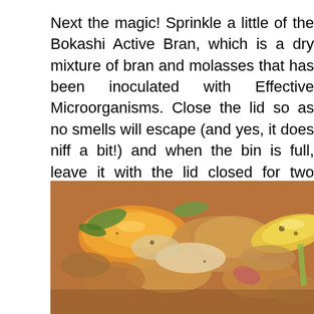Next the magic! Sprinkle a little of the Bokashi Active Bran, which is a dry mixture of bran and molasses that has been inoculated with Effective Microorganisms. Close the lid so as no smells will escape (and yes, it does niff a bit!) and when the bin is full, leave it with the lid closed for two further weeks and the food will be transformed into a product that it is safe to add to your normal compost heap.
[Figure (photo): Close-up photograph of food scraps and vegetable waste in a compost bin, showing orange peels, leafy greens, and other organic material]